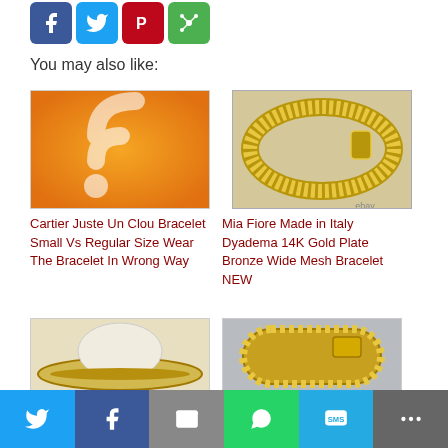[Figure (infographic): Social share icons: Facebook (blue), Twitter (light blue), Pinterest (red), More (green)]
You may also like:
[Figure (photo): Orange background with blurred RSS/wifi symbol - thumbnail for Cartier article]
Cartier Juste Un Clou Bracelet Small Vs Regular Size Wear The Bracelet In Wrong Way
[Figure (photo): Gold mesh bracelet on white background with ebay watermark]
Mia Fiore Made in Italy Dyadema 14K Gold Plate Bronze Wide Mesh Bracelet NEW
[Figure (photo): Gold bangle bracelet on white display stand]
[Figure (photo): Gold mesh bracelet with rectangular clasp, close up]
[Figure (infographic): Bottom share bar with Twitter, Facebook, Email, WhatsApp, SMS, More buttons]